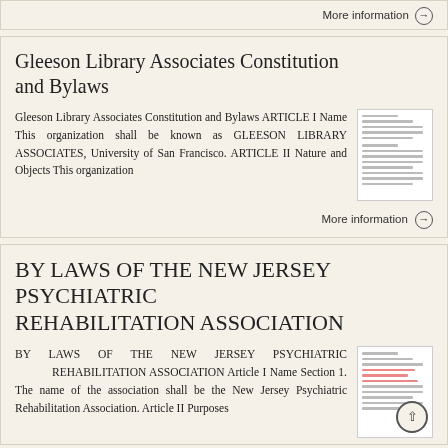More information →
Gleeson Library Associates Constitution and Bylaws
Gleeson Library Associates Constitution and Bylaws ARTICLE I Name This organization shall be known as GLEESON LIBRARY ASSOCIATES, University of San Francisco. ARTICLE II Nature and Objects This organization
More information →
BY LAWS OF THE NEW JERSEY PSYCHIATRIC REHABILITATION ASSOCIATION
BY LAWS OF THE NEW JERSEY PSYCHIATRIC REHABILITATION ASSOCIATION Article I Name Section 1. The name of the association shall be the New Jersey Psychiatric Rehabilitation Association. Article II Purposes